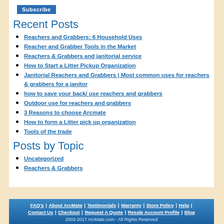Recent Posts
Reachers and Grabbers: 6 Household Uses
Reacher and Grabber Tools in the Market
Reachers & Grabbers and janitorial service
How to Start a Litter Pickup Organization
Janitorial Reachers and Grabbers | Most common uses for reachers & grabbers for a janitor
how to save your back/ use reachers and grabbers
Outdoor use for reachers and grabbers
3 Reasons to choose Arcmate
How to form a Litter pick up organization
Tools of the trade
Posts by Topic
Uncategorized
Reachers & Grabbers
FAQ's | About ArcMate | Testimonials | Warranty | Store Policy | Help | Contact Us | Checkout | Request A Quote | Resale Account Profile | Blog
2003-2017 ArcMate.com - All Rights Reserved